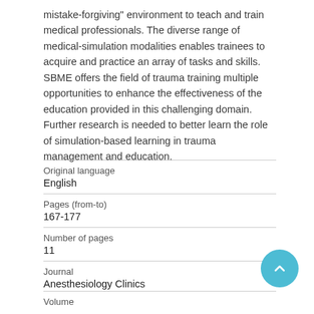mistake-forgiving" environment to teach and train medical professionals. The diverse range of medical-simulation modalities enables trainees to acquire and practice an array of tasks and skills. SBME offers the field of trauma training multiple opportunities to enhance the effectiveness of the education provided in this challenging domain. Further research is needed to better learn the role of simulation-based learning in trauma management and education.
| Original language | English |
| Pages (from-to) | 167-177 |
| Number of pages | 11 |
| Journal | Anesthesiology Clinics |
| Volume |  |